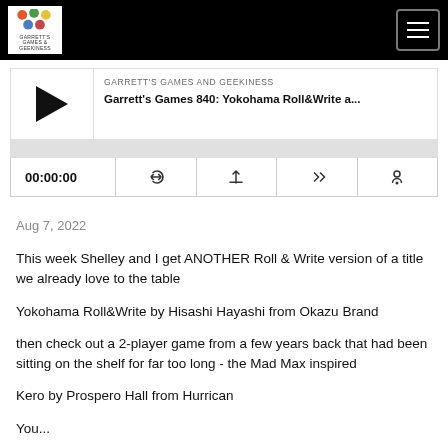[Figure (logo): Garrett's Games and Geekiness logo in top-left of black navigation bar]
[Figure (illustration): Hamburger menu icon button in top-right corner of black navigation bar]
[Figure (screenshot): Podcast player widget showing play button, episode title 'Garrett's Games 840: Yokohama Roll&Write a...' under label 'GARRETT'S GAMES AND GEEKINESS', progress bar, time display 00:00:00, and control icons]
Aug 7, 2022
This week Shelley and I get ANOTHER Roll & Write version of a title we already love to the table
Yokohama Roll&Write by Hisashi Hayashi from Okazu Brand
then check out a 2-player game from a few years back that had been sitting on the shelf for far too long - the Mad Max inspired
Kero by Prospero Hall from Hurrican
You...
Read More